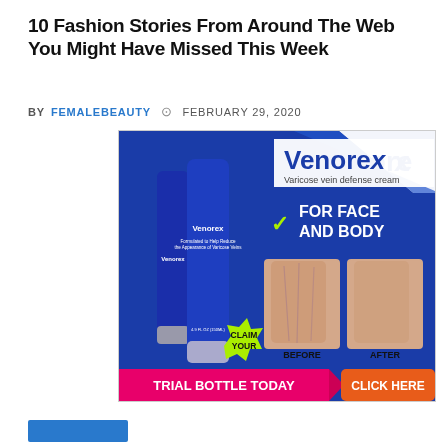10 Fashion Stories From Around The Web You Might Have Missed This Week
BY FEMALEBEAUTY  ⊙  FEBRUARY 29, 2020
[Figure (photo): Venorex varicose vein defense cream advertisement showing product tubes, before/after leg photos, 'FOR FACE AND BODY' text, 'CLAIM YOUR TRIAL BOTTLE TODAY' with 'CLICK HERE' button.]